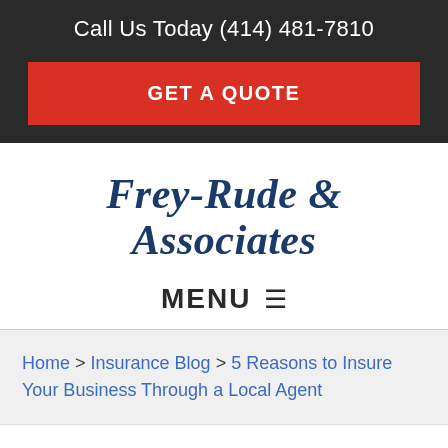Call Us Today (414) 481-7810
GET A QUOTE
Frey-Rude & Associates
MENU ≡
Home > Insurance Blog > 5 Reasons to Insure Your Business Through a Local Agent